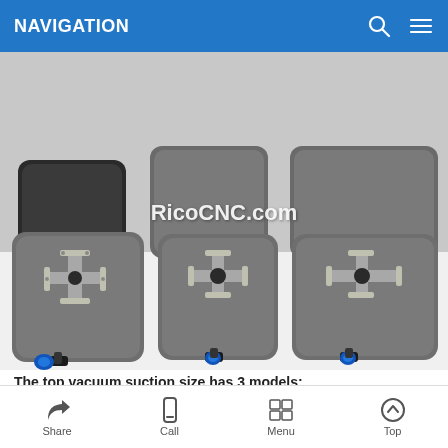NAVIGATION
[Figure (photo): Six CNC vacuum suction cups with cross-shaped top surfaces and blue pneumatic fittings at the bottom, shown from above on a white background. Watermark reads RicoCNC.com.]
The top vacuum suction size has 3 models:
Full size flat table vacuum cups 145x132mm
Share  Call  Menu  Top